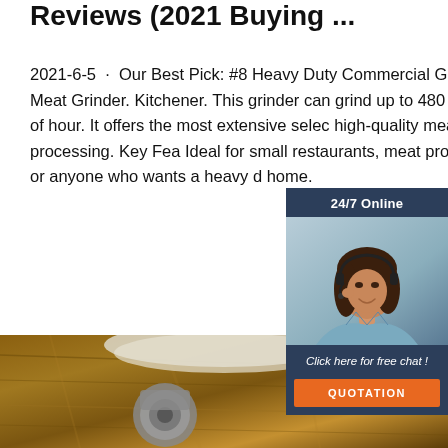Reviews (2021 Buying ...
2021-6-5 · Our Best Pick: #8 Heavy Duty Commercial Grade Meat Grinder. Kitchener. This grinder can grind up to 480 pounds of hour. It offers the most extensive selec high-quality meat processing. Key Fea Ideal for small restaurants, meat proce stores or anyone who wants a heavy d home.
[Figure (photo): Customer service representative woman with headset, with '24/7 Online' header, 'Click here for free chat!' text and orange QUOTATION button on dark blue background]
[Figure (other): Orange TOP logo with dot pattern above letters]
[Figure (photo): Bottom image showing wooden cutting board surface with meat grinder parts]